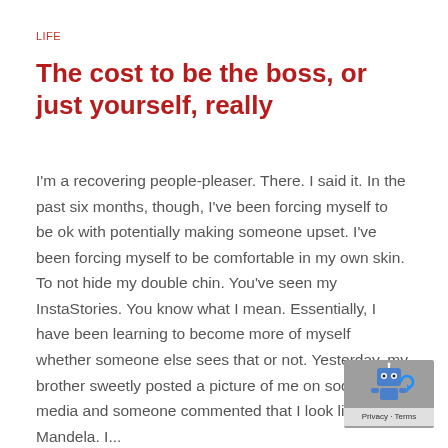LIFE
The cost to be the boss, or just yourself, really
I'm a recovering people-pleaser. There. I said it. In the past six months, though, I've been forcing myself to be ok with potentially making someone upset. I've been forcing myself to be comfortable in my own skin. To not hide my double chin. You've seen my InstaStories. You know what I mean. Essentially, I have been learning to become more of myself whether someone else sees that or not. Yesterday, my brother sweetly posted a picture of me on social media and someone commented that I look like Mandela. I...
[Figure (logo): reCAPTCHA badge with robot icon and Privacy - Terms text]